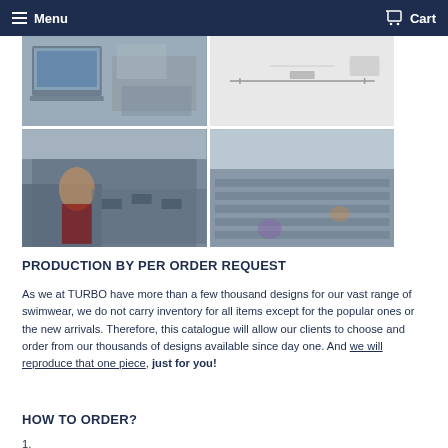Menu   Cart
[Figure (photo): Four photos in a 2x2 grid showing a swimwear manufacturing facility: top-left shows a laptop and design materials on a table, top-right shows drafting/cutting tools on a white surface, bottom-left shows workers at sewing machines in a factory, bottom-right shows a large factory floor with rows of sewing machines and workers.]
PRODUCTION BY PER ORDER REQUEST
As we at TURBO have more than a few thousand designs for our vast range of swimwear, we do not carry inventory for all items except for the popular ones or the new arrivals. Therefore, this catalogue will allow our clients to choose and order from our thousands of designs available since day one. And we will reproduce that one piece, just for you!
HOW TO ORDER?